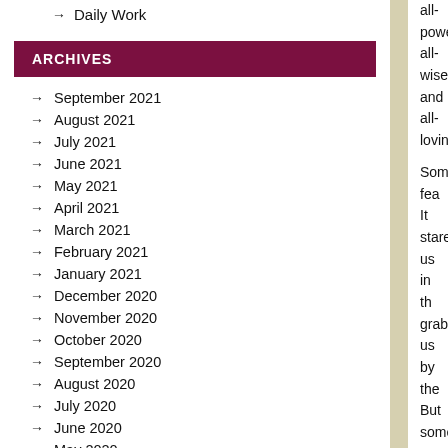Daily Work
ARCHIVES
September 2021
August 2021
July 2021
June 2021
May 2021
April 2021
March 2021
February 2021
January 2021
December 2020
November 2020
October 2020
September 2020
August 2020
July 2020
June 2020
May 2020
all-powerful, all-wise, and all-loving.

Sometimes fear is obvious. It stares us in the face. It grabs us by the throat. But sometimes it's subtle. We're not fully aware of it. It simmers beneath the surface, making us vagu...

As soon as any anxiety arises, no matter how small, drag it out into the light. "Father, I am concerned about... If there is anything to do, lead me, and I will follow. Otherwise, I simply... Pray this way e...

Don't let the Enemy fill you with concerns...